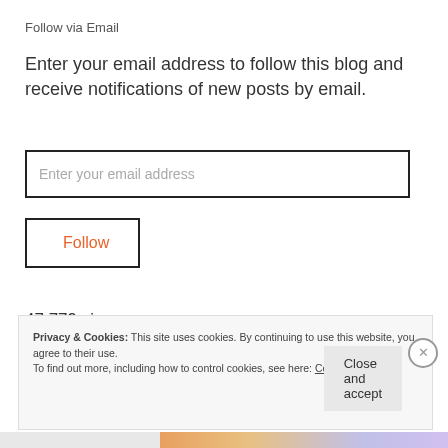Follow via Email
Enter your email address to follow this blog and receive notifications of new posts by email.
[Figure (screenshot): Email input text field with placeholder text 'Enter your email address' and black border]
[Figure (screenshot): Follow button with black border and orange text 'Follow']
47,779 views
Privacy & Cookies: This site uses cookies. By continuing to use this website, you agree to their use. To find out more, including how to control cookies, see here: Cookie Policy
Close and accept